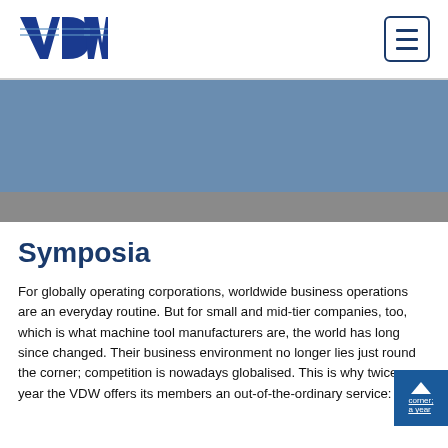VDW logo and navigation menu
[Figure (illustration): Blue banner/hero image area with grey strip below]
Symposia
For globally operating corporations, worldwide business operations are an everyday routine. But for small and mid-tier companies, too, which is what machine tool manufacturers are, the world has long since changed. Their business environment no longer lies just round the corner; competition is nowadays globalised. This is why twice a year the VDW offers its members an out-of-the-ordinary service: